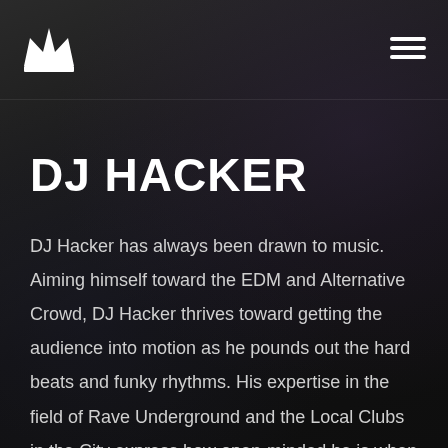[Figure (logo): White crown logo icon in top left corner]
[Figure (illustration): Hamburger menu icon (three horizontal lines) in top right corner]
DJ HACKER
DJ Hacker has always been drawn to music. Aiming himself toward the EDM and Alternative Crowd, DJ Hacker thrives toward getting the audience into motion as he pounds out the hard beats and funky rhythms. His expertise in the field of Rave Underground and the Local Clubs in the City express how open-minded he is when it comes to music. Whether it be hits form the Alternative format to the music of DJ Tiesto